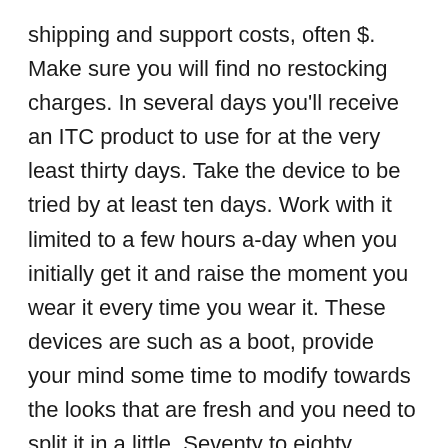shipping and support costs, often $. Make sure you will find no restocking charges. In several days you'll receive an ITC product to use for at the very least thirty days. Take the device to be tried by at least ten days. Work with it limited to a few hours a-day when you initially get it and raise the moment you wear it every time you wear it. These devices are such as a boot, provide your mind some time to modify towards the looks that are fresh and you need to split it in a little. Seventy to eighty percent of the who try one of these simple discover that they are doing function. Should your trouble is not solved by you for your satisfaction, merely return these devices and watch for your refund. Contemplate it, you are around $25.00; the non credited managing and delivery when $3 to $5 return your internet...